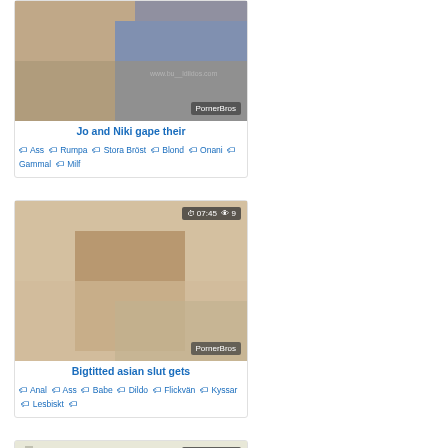[Figure (photo): Video thumbnail showing adult content with PornerBros watermark]
Jo and Niki gape their
🏷 Ass 🏷 Rumpa 🏷 Stora Bröst 🏷 Blond 🏷 Onani 🏷 Gammal 🏷 Milf
[Figure (photo): Video thumbnail showing adult content, duration 07:45, views 9, with PornerBros watermark]
Bigtitted asian slut gets
🏷 Anal 🏷 Ass 🏷 Babe 🏷 Dildo 🏷 Flickvän 🏷 Kyssar 🏷 Lesbiskt 🏷
[Figure (photo): Video thumbnail, duration 06:57, views 7]